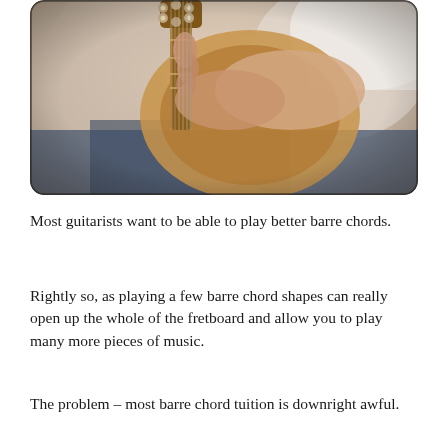[Figure (photo): Close-up photograph of a person's hands playing guitar, showing the headstock and tuning pegs, with blurred background. Person wearing white shirt and jeans.]
Most guitarists want to be able to play better barre chords.
Rightly so, as playing a few barre chord shapes can really open up the whole of the fretboard and allow you to play many more pieces of music.
The problem – most barre chord tuition is downright awful.